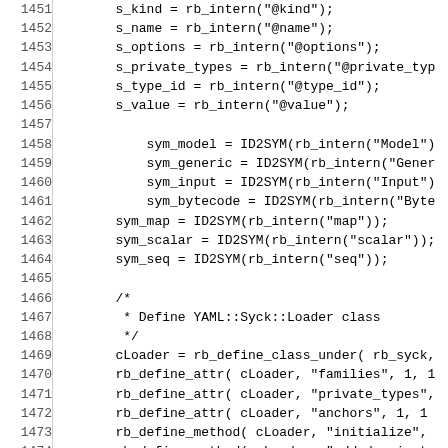Code listing lines 1451-1480 showing Ruby C extension initialization code with rb_intern, ID2SYM, rb_define_class_under, rb_define_attr, and rb_define_method calls.